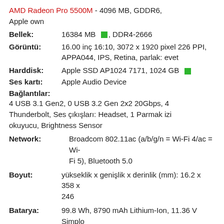AMD Radeon Pro 5500M - 4096 MB, GDDR6, Apple own
Bellek: 16384 MB, DDR4-2666
Görüntü: 16.00 inç 16:10, 3072 x 1920 pixel 226 PPI, APPA044, IPS, Retina, parlak: evet
Harddisk: Apple SSD AP1024 7171, 1024 GB
Ses kartı: Apple Audio Device
Bağlantılar: 4 USB 3.1 Gen2, 0 USB 3.2 Gen 2x2 20Gbps, 4 Thunderbolt, Ses çıkışları: Headset, 1 Parmak izi okuyucu, Brightness Sensor
Network: Broadcom 802.11ac (a/b/g/n = Wi-Fi 4/ac = Wi-Fi 5), Bluetooth 5.0
Boyut: yükseklik x genişlik x derinlik (mm): 16.2 x 358 x 246
Batarya: 99.8 Wh, 8790 mAh Lithium-Ion, 11.36 V Simplo Technology (Changshu) Inc. A2113